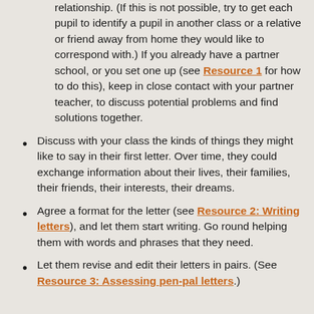relationship. (If this is not possible, try to get each pupil to identify a pupil in another class or a relative or friend away from home they would like to correspond with.) If you already have a partner school, or you set one up (see Resource 1 for how to do this), keep in close contact with your partner teacher, to discuss potential problems and find solutions together.
Discuss with your class the kinds of things they might like to say in their first letter. Over time, they could exchange information about their lives, their families, their friends, their interests, their dreams.
Agree a format for the letter (see Resource 2: Writing letters), and let them start writing. Go round helping them with words and phrases that they need.
Let them revise and edit their letters in pairs. (See Resource 3: Assessing pen-pal letters.)